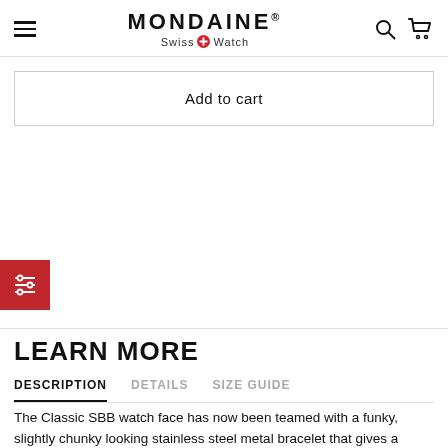MONDAINE® Swiss Watch
Add to cart
[Figure (other): Red square icon with filter/sliders symbol (three vertical lines with horizontal crossbars) in white]
LEARN MORE
DESCRIPTION  DETAILS  SIZE GUIDE
The Classic SBB watch face has now been teamed with a funky, slightly chunky looking stainless steel metal bracelet that gives a respectable nod to 70s retro which is so prominent in today's world